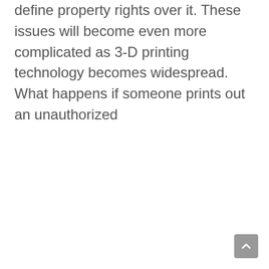define property rights over it. These issues will become even more complicated as 3-D printing technology becomes widespread. What happens if someone prints out an unauthorized